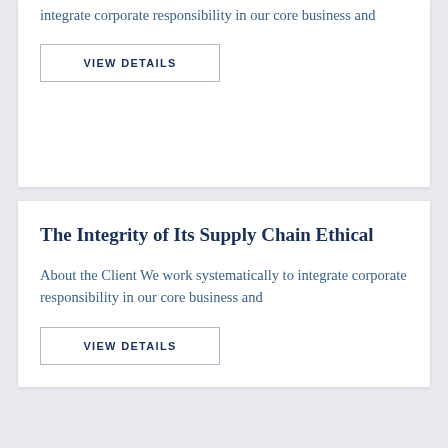integrate corporate responsibility in our core business and
VIEW DETAILS
The Integrity of Its Supply Chain Ethical
About the Client We work systematically to integrate corporate responsibility in our core business and
VIEW DETAILS